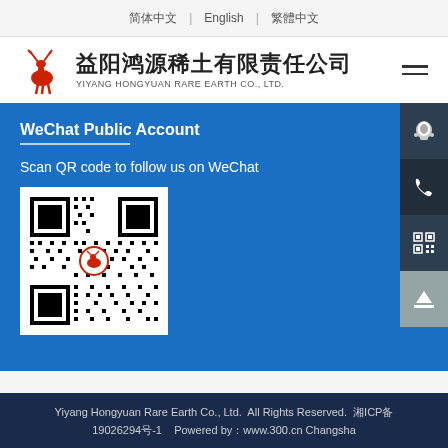简体中文 | English | 繁體中文
[Figure (logo): Yiyang Hongyuan Rare Earth Co., Ltd. logo with deer silhouette and Chinese/English company name]
WeChat Public Account
Scan QR code to follow us on WeChat
[Figure (other): WeChat QR code for Yiyang Hongyuan Rare Earth Co., Ltd.]
Yiyang Hongyuan Rare Earth Co., Ltd.  All Rights Reserved.  湘ICP备 19026294号-1    Powered by：www.300.cn Changsha